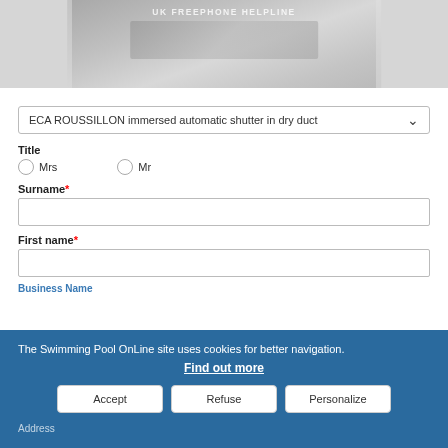[Figure (photo): Grayscale photo of hands on a calculator/keyboard with text 'UK FREEPHONE HELPLINE' overlaid]
ECA ROUSSILLON immersed automatic shutter in dry duct
Title
Mrs
Mr
Surname*
First name*
Business Name
The Swimming Pool OnLine site uses cookies for better navigation.
Find out more
Address
Accept
Refuse
Personalize